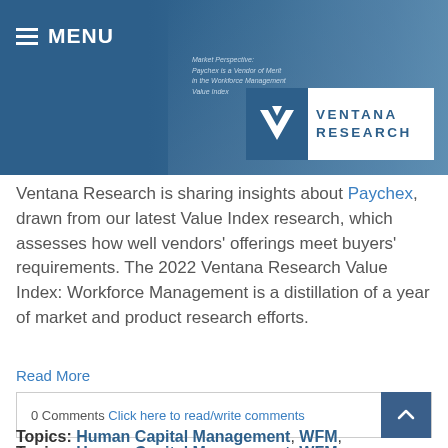MENU | Ventana Research
[Figure (logo): Ventana Research logo with white V icon on blue background and blue VENTANA RESEARCH text]
Ventana Research is sharing insights about Paychex, drawn from our latest Value Index research, which assesses how well vendors' offerings meet buyers' requirements. The 2022 Ventana Research Value Index: Workforce Management is a distillation of a year of market and product research efforts.
Read More
0 Comments Click here to read/write comments
Topics: Human Capital Management, WFM,